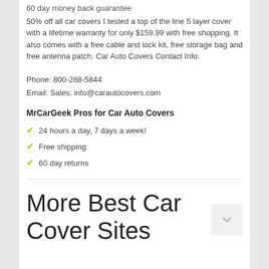60 day money back guarantee
50% off all car covers I tested a top of the line 5 layer cover with a lifetime warranty for only $159.99 with free shopping. It also comes with a free cable and lock kit, free storage bag and free antenna patch. Car Auto Covers Contact Info:
Phone: 800-288-5844
Email: Sales: info@carautocovers.com
MrCarGeek Pros for Car Auto Covers
24 hours a day, 7 days a week!
Free shipping
60 day returns
More Best Car Cover Sites